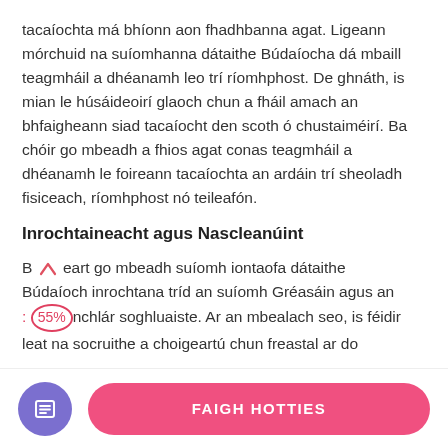tacaíochta má bhíonn aon fhadhbanna agat. Ligeann mórchuid na suíomhanna dátaithe Búdaíocha dá mbaill teagmháil a dhéanamh leo trí ríomhphost. De ghnáth, is mian le húsáideoirí glaoch chun a fháil amach an bhfaigheann siad tacaíocht den scoth ó chustaiméirí. Ba chóir go mbeadh a fhios agat conas teagmháil a dhéanamh le foireann tacaíochta an ardáin trí sheoladh fisiceach, ríomhphost nó teileafón.
Inrochtaineacht agus Nascleanúint
B ^ eart go mbeadh suíomh iontaofa dátaithe Búdaíoch inrochtana tríd an suíomh Gréasáin agus an : 55% nchlár soghluaiste. Ar an mbealach seo, is féidir leat na socruithe a choigeartú chun freastal ar do